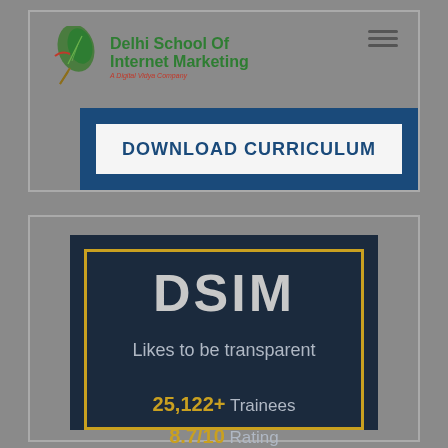[Figure (logo): Delhi School Of Internet Marketing logo with green leaf icon and green bold text]
DOWNLOAD CURRICULUM
[Figure (infographic): DSIM dark navy card with gold border frame. Text: DSIM / Likes to be transparent / 25,122+ Trainees / 8.7/10 Rating / 910+ Batches]